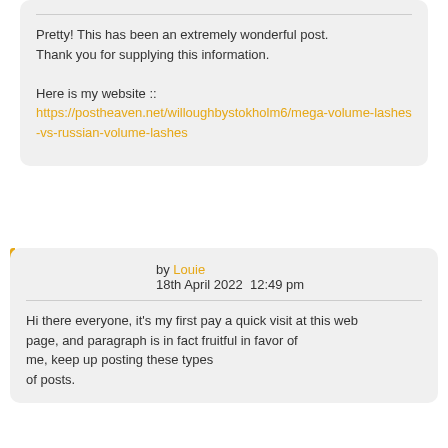Pretty! This has been an extremely wonderful post.
Thank you for supplying this information.

Here is my website ::
https://postheaven.net/willoughbystokholm6/mega-volume-lashes-vs-russian-volume-lashes
by Louie
18th April 2022  12:49 pm
Hi there everyone, it's my first pay a quick visit at this web
page, and paragraph is in fact fruitful in favor of me, keep up posting these types
of posts.